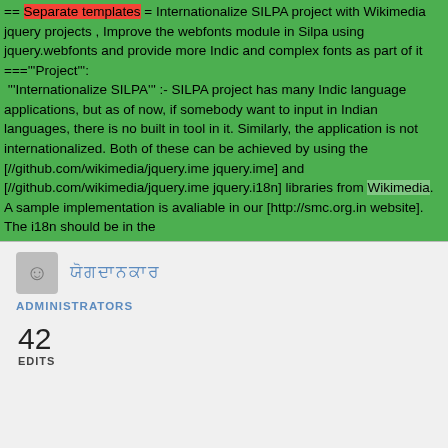== Separate templates = Internationalize SILPA project with Wikimedia jquery projects , Improve the webfonts module in Silpa using jquery.webfonts and provide more Indic and complex fonts as part of it ==="""Project""": """Internationalize SILPA""" :- SILPA project has many Indic language applications, but as of now, if somebody want to input in Indian languages, there is no built in tool in it. Similarly, the application is not internationalized. Both of these can be achieved by using the [//github.com/wikimedia/jquery.ime jquery.ime] and [//github.com/wikimedia/jquery.ime jquery.i18n] libraries from Wikimedia. A sample implementation is avaliable in our [http://smc.org.in website]. The i18n should be in the
ਯੋਗਦਾਨਕਾਰ
ADMINISTRATORS
42 EDITS